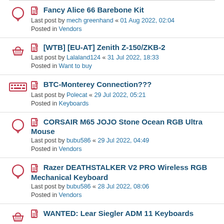Fancy Alice 66 Barebone Kit
Last post by mech greenhand « 01 Aug 2022, 02:04
Posted in Vendors
[WTB] [EU-AT] Zenith Z-150/ZKB-2
Last post by Lalaland124 « 31 Jul 2022, 18:33
Posted in Want to buy
BTC-Monterey Connection???
Last post by Polecat « 29 Jul 2022, 05:21
Posted in Keyboards
CORSAIR M65 JOJO Stone Ocean RGB Ultra Mouse
Last post by bubu586 « 29 Jul 2022, 04:49
Posted in Vendors
Razer DEATHSTALKER V2 PRO Wireless RGB Mechanical Keyboard
Last post by bubu586 « 28 Jul 2022, 08:06
Posted in Vendors
WANTED: Lear Siegler ADM 11 Keyboards